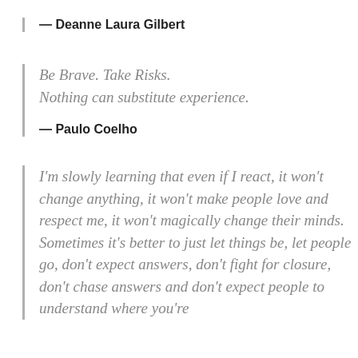— Deanne Laura Gilbert
Be Brave. Take Risks.
Nothing can substitute experience.
— Paulo Coelho
I'm slowly learning that even if I react, it won't change anything, it won't make people love and respect me, it won't magically change their minds. Sometimes it's better to just let things be, let people go, don't expect answers, don't fight for closure, don't chase answers and don't expect people to understand where you're